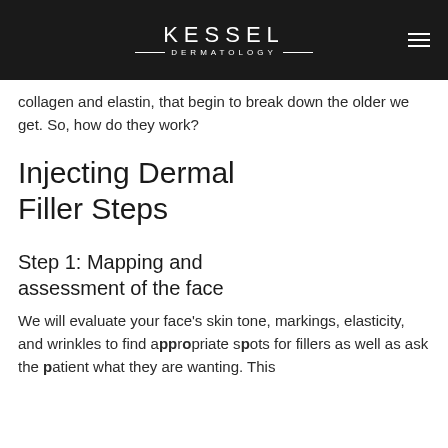KESSEL DERMATOLOGY
collagen and elastin, that begin to break down the older we get. So, how do they work?
Injecting Dermal Filler Steps
Step 1: Mapping and assessment of the face
We will evaluate your face's skin tone, markings, elasticity, and wrinkles to find appropriate spots for fillers as well as ask the patient what they are wanting. This